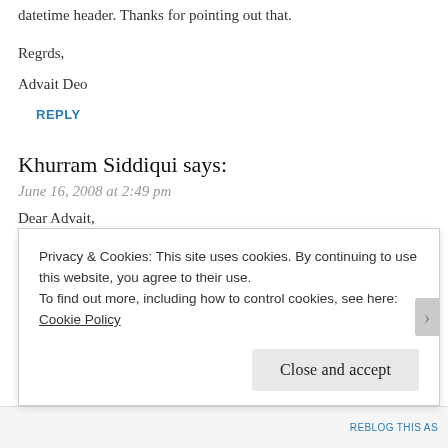datetime header. Thanks for pointing out that.
Regrds,
Advait Deo
REPLY
Khurram Siddiqui says:
June 16, 2008 at 2:49 pm
Dear Advait,
Please refer this thread with instance recovery not only
recovery which create confusion for new comers. When i was
Privacy & Cookies: This site uses cookies. By continuing to use this website, you agree to their use.
To find out more, including how to control cookies, see here:
Cookie Policy
Close and accept